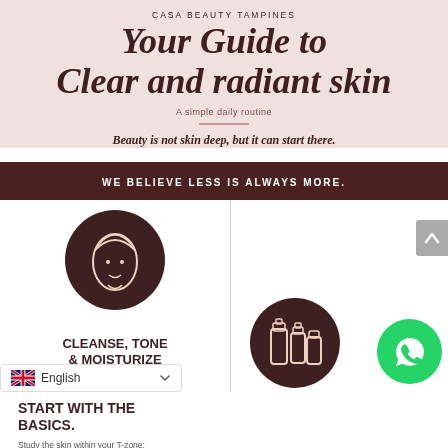CASA BEAUTY TAMPINES
Your Guide to Clear and radiant skin
A simple daily routine
Beauty is not skin deep, but it can start there.
WE BELIEVE LESS IS ALWAYS MORE.
[Figure (illustration): Dark brown circle with a line-drawn face illustration showing a person with head wrap/cloth]
START WITH THE BASICS.
Study the skin within your T-zone: forehead, nose, chin.
CLEANSE, TONE & MOISTURIZE IT DAILY.
[Figure (illustration): Dark brown circle with line-drawn skincare bottles/containers]
[Figure (logo): WhatsApp green circle button]
English
[Figure (illustration): UK flag emoji with English language selector dropdown]